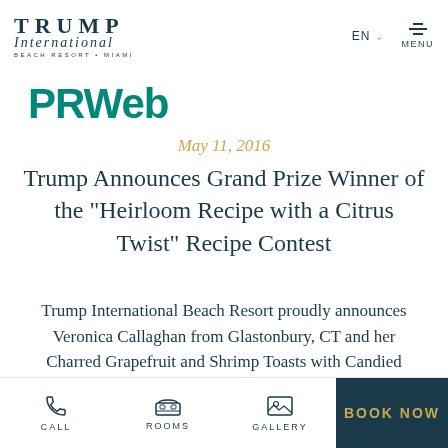TRUMP International BEACH RESORT • MIAMI | EN | MENU
PRWeb
May 11, 2016
Trump Announces Grand Prize Winner of the "Heirloom Recipe with a Citrus Twist" Recipe Contest
Trump International Beach Resort proudly announces Veronica Callaghan from Glastonbury, CT and her Charred Grapefruit and Shrimp Toasts with Candied Jalpenos recipe
CALL | ROOMS | GALLERY | BOOK NOW